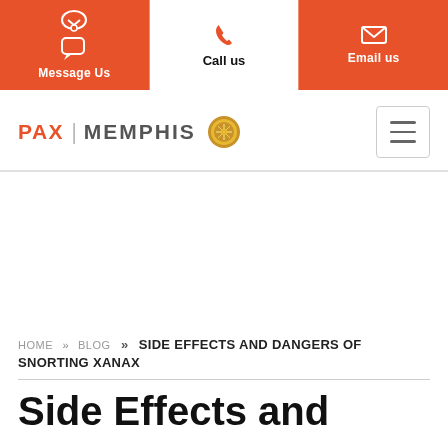Message Us | Call us | Email us
[Figure (logo): PAX MEMPHIS logo with gold badge seal and hamburger menu button]
HOME » BLOG » SIDE EFFECTS AND DANGERS OF SNORTING XANAX
Side Effects and